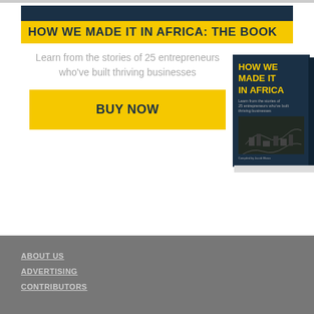HOW WE MADE IT IN AFRICA: THE BOOK
Learn from the stories of 25 entrepreneurs who've built thriving businesses
BUY NOW
[Figure (illustration): Book cover of 'How We Made It In Africa' with yellow title text on dark navy background and aerial city background image]
ABOUT US
ADVERTISING
CONTRIBUTORS